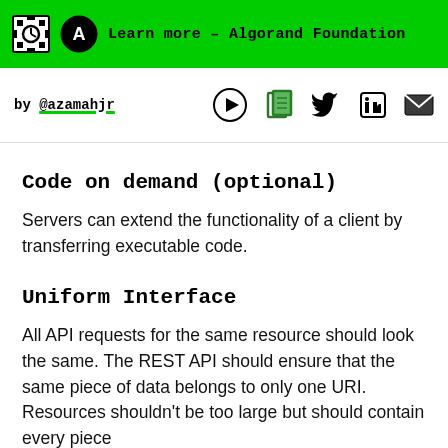Learn more – Algorand Foundation
by @azamahjr
Code on demand (optional)
Servers can extend the functionality of a client by transferring executable code.
Uniform Interface
All API requests for the same resource should look the same. The REST API should ensure that the same piece of data belongs to only one URI. Resources shouldn't be too large but should contain every piece